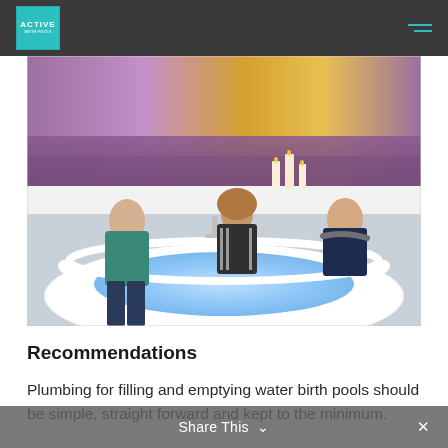ACTIVE [logo] navigation
[Figure (photo): Three women standing and sitting around a white water birth pool with blue illuminated water. Background shows a large mural of a lavender field and candles on a ledge. The room appears to be a birthing suite.]
Recommendations
Plumbing for filling and emptying water birth pools should be simple, straight forward and kept to the minimum.
Share This  ✕